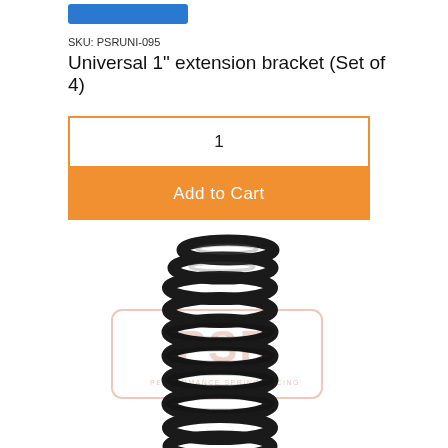SKU: PSRUNI-095
Universal 1" extension bracket (Set of 4)
1
Add to Cart
[Figure (photo): A black coil spring (suspension spring) with PSR watermark/logo overlay in the center of the image]